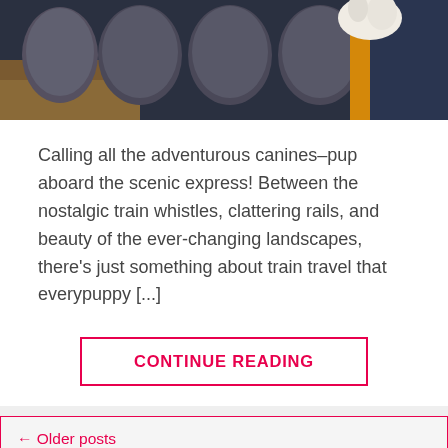[Figure (photo): Photo of train seats/interior with what appears to be a dog, showing seat backs and warm/cool color contrasts]
Calling all the adventurous canines–pup aboard the scenic express! Between the nostalgic train whistles, clattering rails, and beauty of the ever-changing landscapes, there's just something about train travel that everypuppy [...]
CONTINUE READING
← Older posts
Newer posts →